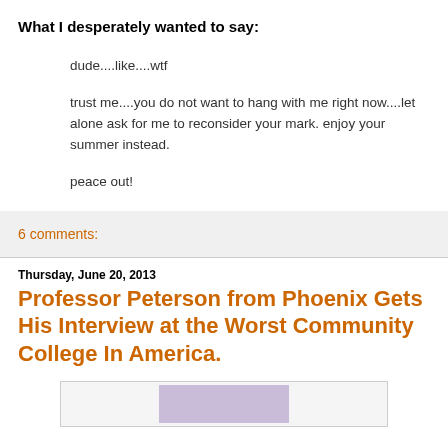What I desperately wanted to say:
dude....like....wtf
trust me....you do not want to hang with me right now....let alone ask for me to reconsider your mark. enjoy your summer instead.
peace out!
6 comments:
Thursday, June 20, 2013
Professor Peterson from Phoenix Gets His Interview at the Worst Community College In America.
[Figure (photo): Partial image visible at bottom of page, appears to be a photograph with purple/lavender tones]